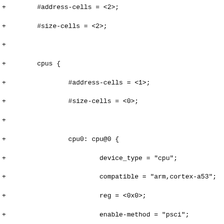Diff/patch code snippet showing device tree source additions for CPU nodes with address-cells, size-cells, cpus block, cpu0, cpu1, cpu2 entries with device_type, compatible, reg, enable-method, next-level-cache properties